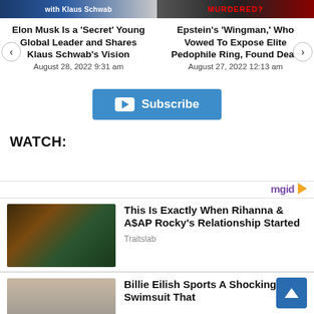[Figure (screenshot): Top image bar with two article thumbnails: left shows text 'with Klaus Schwab', right shows red text 'MURDERED?']
Elon Musk Is a 'Secret' Young Global Leader and Shares Klaus Schwab's Vision
August 28, 2022 9:31 am
Epstein's 'Wingman,' Who Vowed To Expose Elite Pedophile Ring, Found Dead
August 27, 2022 12:13 am
[Figure (screenshot): Blue Subscribe button with YouTube play icon]
WATCH:
[Figure (logo): mgid logo with orange play arrow]
[Figure (photo): Photo of Rihanna dressed with feathered wings and crown]
This Is Exactly When Rihanna & A$AP Rocky's Relationship Started
Traitslab
[Figure (photo): Photo of Billie Eilish partially visible]
Billie Eilish Sports A Shocking Swimsuit That